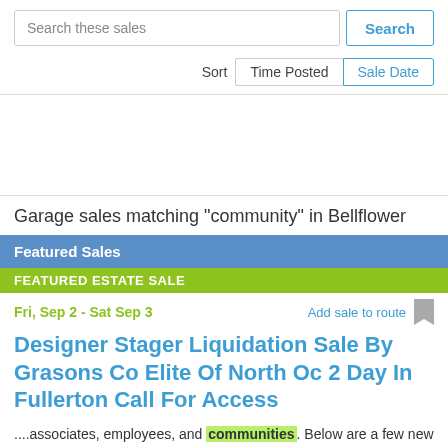Search these sales
Search
Sort   Time Posted   Sale Date
Garage sales matching "community" in Bellflower
Featured Sales
FEATURED ESTATE SALE
Fri, Sep 2 - Sat Sep 3
Add sale to route
Designer Stager Liquidation Sale By Grasons Co Elite Of North Oc 2 Day In Fullerton Call For Access
....associates, employees, and communities. Below are a few new safety measures: -To keep social distance....  → Read More
Posted on Mon, Aug 22, 2022 in Fullerton, CA